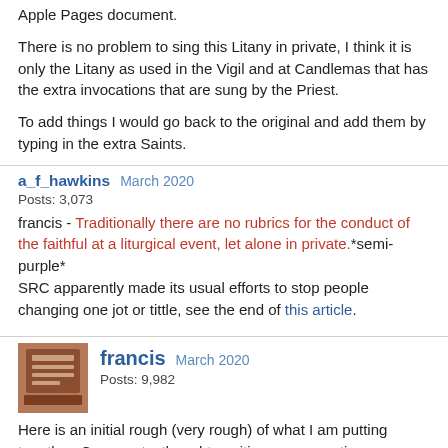Apple Pages document.
There is no problem to sing this Litany in private, I think it is only the Litany as used in the Vigil and at Candlemas that has the extra invocations that are sung by the Priest.
To add things I would go back to the original and add them by typing in the extra Saints.
a_f_hawkins   March 2020
Posts: 3,073
francis - Traditionally there are no rubrics for the conduct of the faithful at a liturgical event, let alone in private.*semi-purple*
SRC apparently made its usual efforts to stop people changing one jot or tittle, see the end of this article.
francis   March 2020
Posts: 9,982
Here is an initial rough (very rough) of what I am putting together. Comments, thoughts, critiques, suggestions, additions, deletions, etc. are welcome. Pagination is not in place... just initial content. All translations will be included.